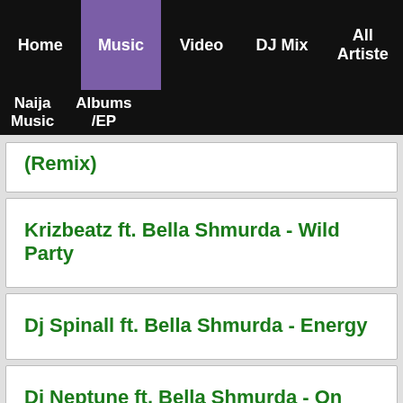Home | Music | Video | DJ Mix | All Artiste | Naija Music | Albums/EP
(Remix)
Krizbeatz ft. Bella Shmurda - Wild Party
Dj Spinall ft. Bella Shmurda - Energy
Dj Neptune ft. Bella Shmurda - On God